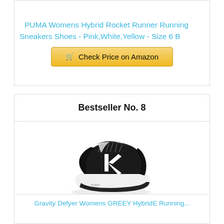PUMA Womens Hybrid Rocket Runner Running Sneakers Shoes - Pink,White,Yellow - Size 6 B
[Figure (other): Amazon checkout button with shopping cart icon reading 'Check Price on Amazon']
Bestseller No. 8
[Figure (photo): Black and white athletic running shoe with white K logo on side, thick white sole, shown on white background]
Gravity Defyer Womens GREEY HybridE Running...